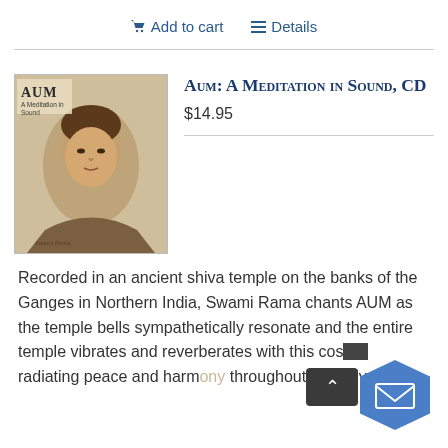Add to cart   Details
[Figure (photo): Album cover of 'AUM: A Meditation in Sound' CD showing a black and white photo of Swami Rama with text 'AUM' at top left]
Aum: A Meditation in Sound, CD
$14.95
Recorded in an ancient shiva temple on the banks of the Ganges in Northern India, Swami Rama chants AUM as the temple bells sympathetically resonate and the entire temple vibrates and reverberates with this cosmic radiating peace and harmony throughout the universe